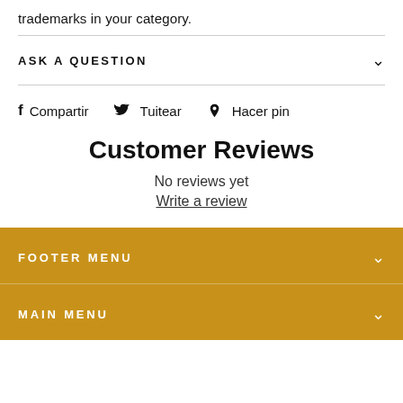trademarks in your category.
ASK A QUESTION
Compartir  Tuitear  Hacer pin
Customer Reviews
No reviews yet
Write a review
FOOTER MENU
MAIN MENU